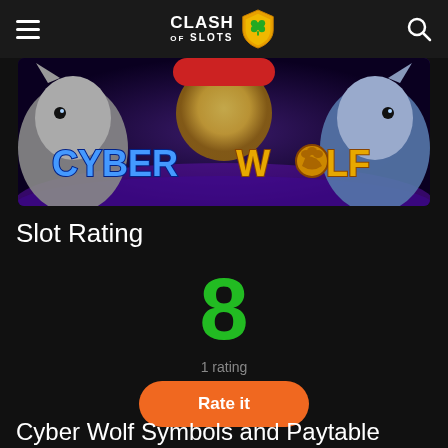CLASH OF SLOTS
[Figure (illustration): Cyber Wolf slot game banner with two wolf characters flanking the stylized 'CYBER WOLF' logo text, set against a purple moonlit background]
Slot Rating
8
1 rating
Rate it
Cyber Wolf Symbols and Paytable